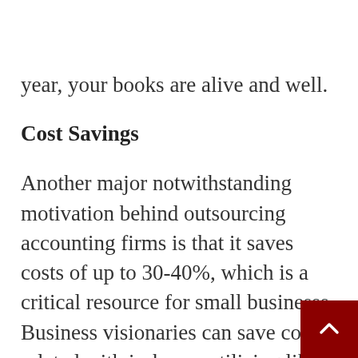year, your books are alive and well.
Cost Savings
Another major notwithstanding motivation behind outsourcing accounting firms is that it saves costs of up to 30-40%, which is a critical resource for small businesss. Business visionaries can save costs related with in-house utilizing like planning, benefits plans, event pay, etc Recruiting an untouchable for free firm accounting moreover